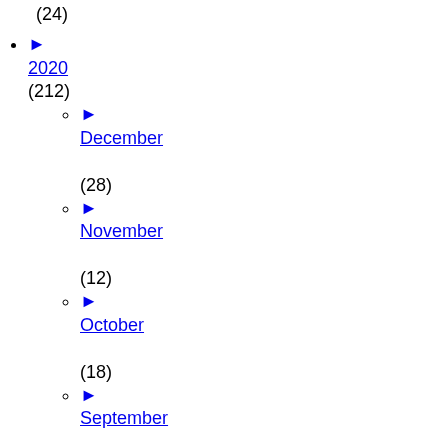(24)
► 2020 (212)
► December (28)
► November (12)
► October (18)
► September (11)
► August (15)
► July (17)
► June (18)